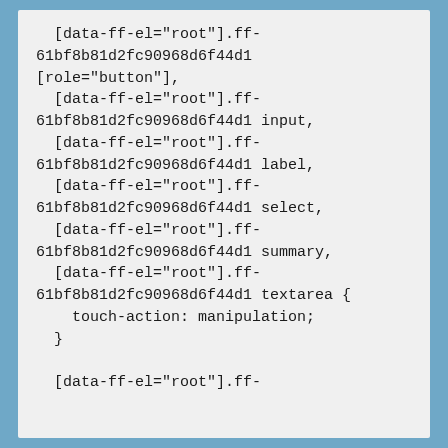[data-ff-el="root"].ff-61bf8b81d2fc90968d6f44d1[role="button"],
  [data-ff-el="root"].ff-61bf8b81d2fc90968d6f44d1 input,
  [data-ff-el="root"].ff-61bf8b81d2fc90968d6f44d1 label,
  [data-ff-el="root"].ff-61bf8b81d2fc90968d6f44d1 select,
  [data-ff-el="root"].ff-61bf8b81d2fc90968d6f44d1 summary,
  [data-ff-el="root"].ff-61bf8b81d2fc90968d6f44d1 textarea {
    touch-action: manipulation;
  }

  [data-ff-el="root"].ff-